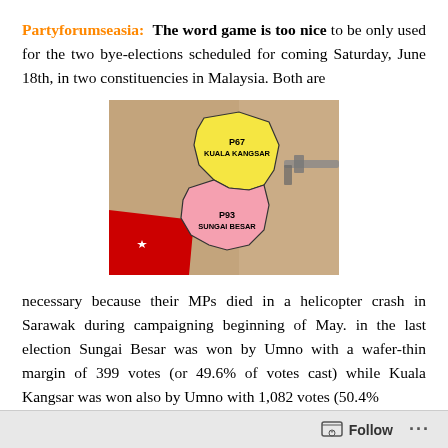Partyforumseasia: The word game is too nice to be only used for the two bye-elections scheduled for coming Saturday, June 18th, in two constituencies in Malaysia. Both are
[Figure (map): Map showing two Malaysian constituencies: P67 Kuala Kangsar (yellow) and P93 Sungai Besar (pink), with a red flag bearing a star and crescent visible in the lower left, and what appears to be a rifle or similar object on the right side.]
necessary because their MPs died in a helicopter crash in Sarawak during campaigning beginning of May. in the last election Sungai Besar was won by Umno with a wafer-thin margin of 399 votes (or 49.6% of votes cast) while Kuala Kangsar was won also by Umno with 1,082 votes (50.4%
Follow ···